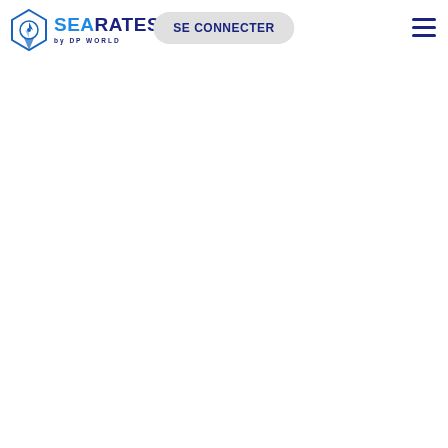SEARATES by DP WORLD — SE CONNECTER
[Figure (logo): SeaRates by DP World logo with blue triangular compass icon and text 'SEARATES by DP WORLD']
SE CONNECTER
[Figure (other): Hamburger menu icon with three horizontal dark blue lines]